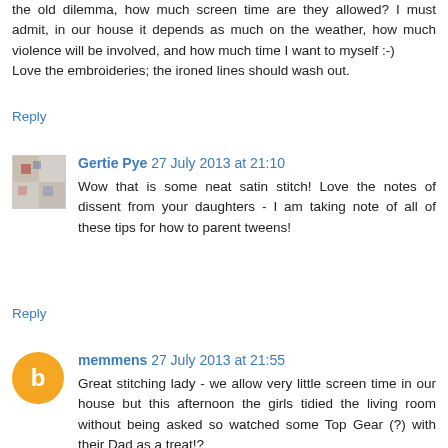the old dilemma, how much screen time are they allowed? I must admit, in our house it depends as much on the weather, how much violence will be involved, and how much time I want to myself :-)
Love the embroideries; the ironed lines should wash out.
Reply
Gertie Pye 27 July 2013 at 21:10
Wow that is some neat satin stitch! Love the notes of dissent from your daughters - I am taking note of all of these tips for how to parent tweens!
Reply
memmens 27 July 2013 at 21:55
Great stitching lady - we allow very little screen time in our house but this afternoon the girls tidied the living room without being asked so watched some Top Gear (?) with their Dad as a treat!?